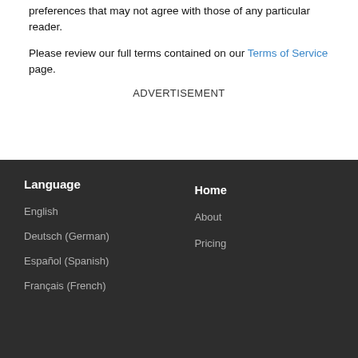preferences that may not agree with those of any particular reader.
Please review our full terms contained on our Terms of Service page.
ADVERTISEMENT
Language
English
Deutsch (German)
Español (Spanish)
Français (French)
Home
About
Pricing